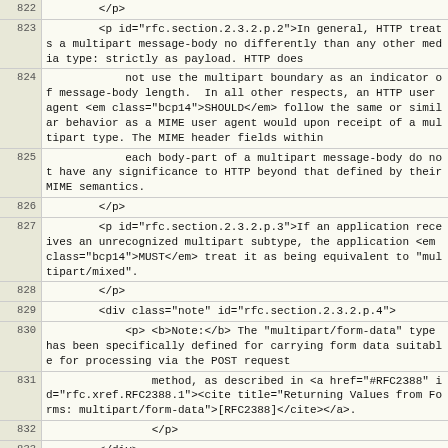| line | code |
| --- | --- |
| 822 |         </p> |
| 823 |         <p id="rfc.section.2.3.2.p.2">In general, HTTP treats a multipart message-body no differently than any other media type: strictly as payload. HTTP does |
| 824 |             not use the multipart boundary as an indicator of message-body length.  In all other respects, an HTTP user agent <em class="bcp14">SHOULD</em> follow the same or similar behavior as a MIME user agent would upon receipt of a multipart type. The MIME header fields within |
| 825 |             each body-part of a multipart message-body do not have any significance to HTTP beyond that defined by their MIME semantics. |
| 826 |         </p> |
| 827 |         <p id="rfc.section.2.3.2.p.3">If an application receives an unrecognized multipart subtype, the application <em class="bcp14">MUST</em> treat it as being equivalent to "multipart/mixed". |
| 828 |         </p> |
| 829 |         <div class="note" id="rfc.section.2.3.2.p.4"> |
| 830 |             <p> <b>Note:</b> The "multipart/form-data" type has been specifically defined for carrying form data suitable for processing via the POST request |
| 831 |                 method, as described in <a href="#RFC2388" id="rfc.xref.RFC2388.1"><cite title="Returning Values from Forms: multipart/form-data">[RFC2388]</cite></a>. |
| 832 |                 </p> |
| 833 |         </div> |
| 834 |         <h2 id="rfc.section.2.4"><a href="#rfc.section.2.4">2.4</a>&nbsp;<a id="language.tags" href="#language.tags">Language Tags</a></h2> |
| 835 |         <p id="rfc.section.2.4.p.1">A language tag, as defined in <a href="#RFC5646" id="rfc.xref.RFC5646.1"><cite title="Tags for Identifying Languages">[RFC5646]</cite></a>, identifies a natural language spoken |